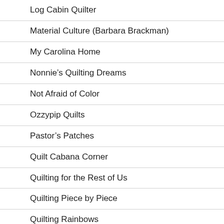Log Cabin Quilter
Material Culture (Barbara Brackman)
My Carolina Home
Nonnie's Quilting Dreams
Not Afraid of Color
Ozzypip Quilts
Pastor's Patches
Quilt Cabana Corner
Quilting for the Rest of Us
Quilting Piece by Piece
Quilting Rainbows